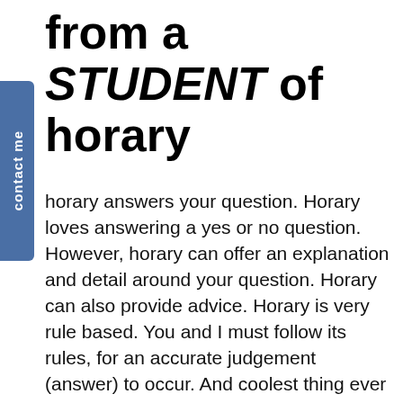from a STUDENT of horary
horary answers your question. Horary loves answering a yes or no question. However, horary can offer an explanation and detail around your question. Horary can also provide advice. Horary is very rule based. You and I must follow its rules, for an accurate judgement (answer) to occur. And coolest thing ever – it doesn't require a human being's birth details!! The birth details are that of the question!
Horary is similar to getting a tarot reading; however, it is a) finite, b) takes more time and effort to answer one question, but then you get a lot more out of it too, and c) the judgement is final – you can only ask your question once – no fooling this oracle!
You've really got to be brave and bold to receive a horary